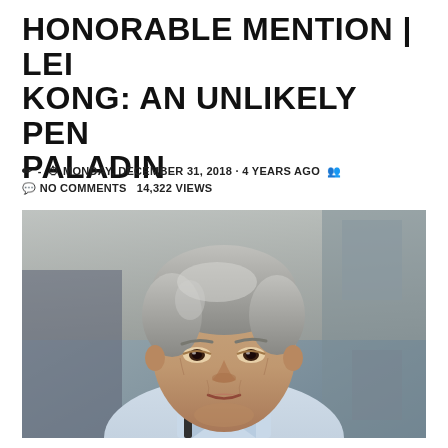HONORABLE MENTION | LEI KONG: AN UNLIKELY PEN PALADIN
✏ -  🕐 MONDAY, DECEMBER 31, 2018 · 4 YEARS AGO  👥
💬 NO COMMENTS   14,322 VIEWS
[Figure (photo): Portrait photo of Lei Kong, an older Asian man with gray hair wearing a light blue collared shirt, looking directly at the camera with a serious expression. Background shows a building exterior.]